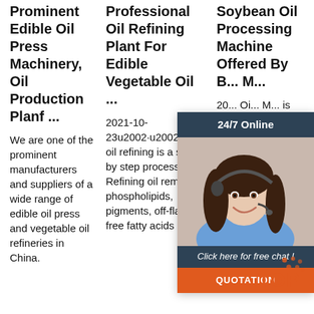Prominent Edible Oil Press Machinery, Oil Production Planf ...
We are one of the prominent manufacturers and suppliers of a wide range of edible oil press and vegetable oil refineries in China.
Professional Oil Refining Plant For Edible Vegetable Oil ...
2021-10-23u2002·u2002Edible oil refining is a step by step process. Refining oil removes phospholipids, pigments, off-flavors, free fatty acids and
Soybean Oil Processing Machine Offered By B... M...
20... Oi... M... is co... refining unit for edible oil production based on batch type refining
[Figure (photo): Chat widget overlay with a woman wearing a headset, dark header saying '24/7 Online', tagline 'Click here for free chat!', orange QUOTATION button, and a TOP badge in orange dots/text at bottom right.]